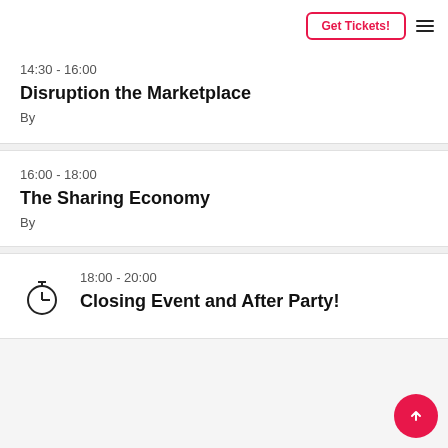Get Tickets!
14:30 - 16:00
Disruption the Marketplace
By
16:00 - 18:00
The Sharing Economy
By
18:00 - 20:00
Closing Event and After Party!